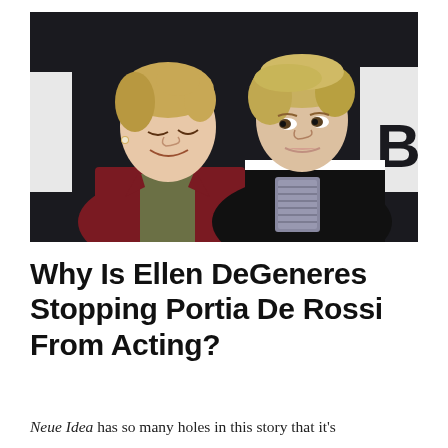[Figure (photo): Two women facing each other closely and smiling, one wearing a dark red velvet jacket, the other wearing a black leather jacket with white trim, against a dark background.]
Why Is Ellen DeGeneres Stopping Portia De Rossi From Acting?
Neue Idea has so many holes in this story that it's